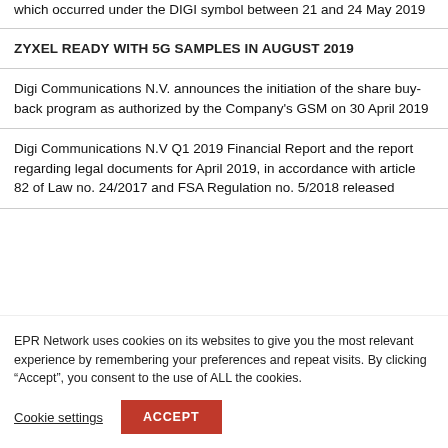which occurred under the DIGI symbol between 21 and 24 May 2019
ZYXEL READY WITH 5G SAMPLES IN AUGUST 2019
Digi Communications N.V. announces the initiation of the share buy-back program as authorized by the Company's GSM on 30 April 2019
Digi Communications N.V Q1 2019 Financial Report and the report regarding legal documents for April 2019, in accordance with article 82 of Law no. 24/2017 and FSA Regulation no. 5/2018 released
EPR Network uses cookies on its websites to give you the most relevant experience by remembering your preferences and repeat visits. By clicking “Accept”, you consent to the use of ALL the cookies.
Cookie settings
ACCEPT